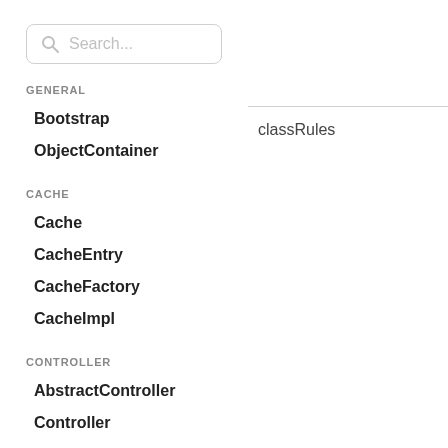Search...
GENERAL
Bootstrap
ObjectContainer
classRules
CACHE
Cache
CacheEntry
CacheFactory
CacheImpl
CONTROLLER
AbstractController
Controller
ControllerDecorator